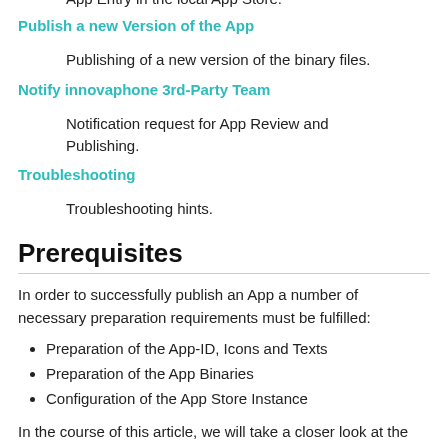App Entry in the local App Store.
Publish a new Version of the App
Publishing of a new version of the binary files.
Notify innovaphone 3rd-Party Team
Notification request for App Review and Publishing.
Troubleshooting
Troubleshooting hints.
Prerequisites
In order to successfully publish an App a number of necessary preparation requirements must be fulfilled:
Preparation of the App-ID, Icons and Texts
Preparation of the App Binaries
Configuration of the App Store Instance
In the course of this article, we will take a closer look at the individual steps.
App-ID, Texts and Icons